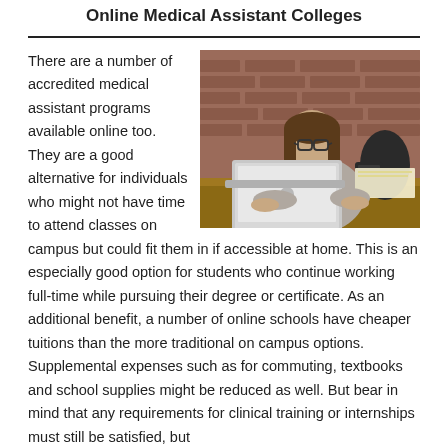Online Medical Assistant Colleges
[Figure (photo): A woman with glasses sitting at a wooden desk, working on a silver Apple MacBook laptop. She is wearing a light grey cardigan over a blue top. A black coffee cup and some papers/notebooks are on the desk. The background is a brick wall.]
There are a number of accredited medical assistant programs available online too. They are a good alternative for individuals who might not have time to attend classes on campus but could fit them in if accessible at home. This is an especially good option for students who continue working full-time while pursuing their degree or certificate. As an additional benefit, a number of online schools have cheaper tuitions than the more traditional on campus options. Supplemental expenses such as for commuting, textbooks and school supplies might be reduced as well. But bear in mind that any requirements for clinical training or internships must still be satisfied, but